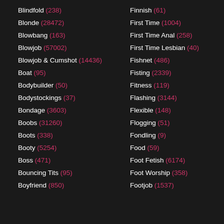Blindfold (238)
Blonde (28472)
Blowbang (163)
Blowjob (57002)
Blowjob & Cumshot (14436)
Boat (95)
Bodybuilder (50)
Bodystockings (37)
Bondage (3603)
Boobs (31260)
Boots (338)
Booty (5254)
Boss (471)
Bouncing Tits (95)
Boyfriend (850)
Finnish (61)
First Time (1004)
First Time Anal (258)
First Time Lesbian (40)
Fishnet (486)
Fisting (2339)
Fitness (119)
Flashing (3144)
Flexible (148)
Flogging (51)
Fondling (9)
Food (59)
Foot Fetish (6174)
Foot Worship (358)
Footjob (1537)